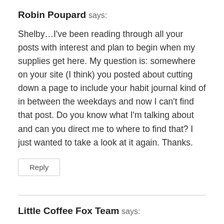Robin Poupard says:
Shelby…I've been reading through all your posts with interest and plan to begin when my supplies get here. My question is: somewhere on your site (I think) you posted about cutting down a page to include your habit journal kind of in between the weekdays and now I can't find that post. Do you know what I'm talking about and can you direct me to where to find that? I just wanted to take a look at it again. Thanks.
Reply
Little Coffee Fox Team says: